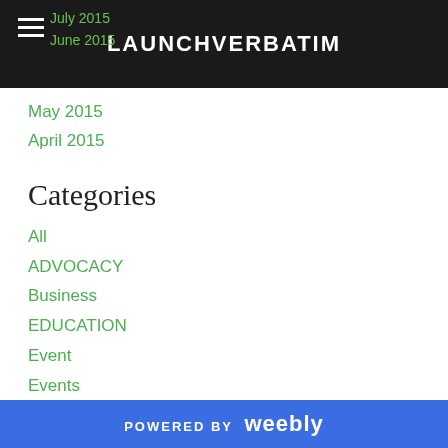LAUNCHVERBATIM
July 2015
June 2015
May 2015
April 2015
Categories
All
ADVOCACY
Business
EDUCATION
Event
Events
Family
Financial
Food
POWERED BY weebly